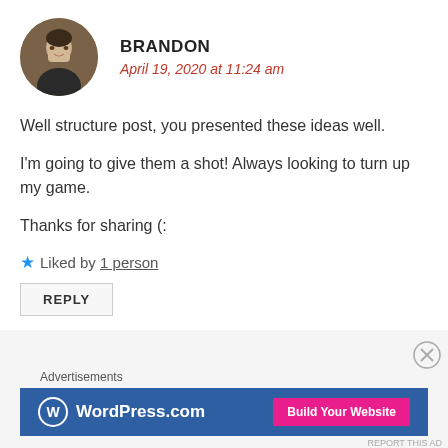BRANDON
April 19, 2020 at 11:24 am
Well structure post, you presented these ideas well.
I'm going to give them a shot! Always looking to turn up my game.
Thanks for sharing (:
★ Liked by 1 person
REPLY
Advertisements
[Figure (screenshot): WordPress.com advertisement banner with logo and 'Build Your Website' button]